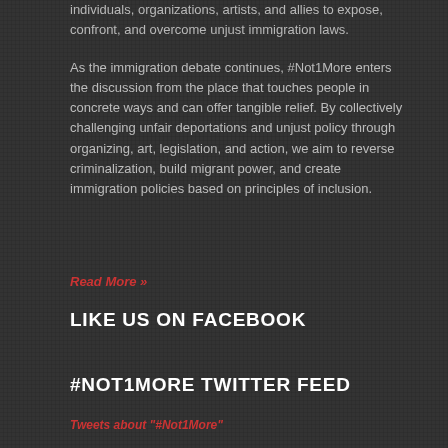individuals, organizations, artists, and allies to expose, confront, and overcome unjust immigration laws.
As the immigration debate continues, #Not1More enters the discussion from the place that touches people in concrete ways and can offer tangible relief. By collectively challenging unfair deportations and unjust policy through organizing, art, legislation, and action, we aim to reverse criminalization, build migrant power, and create immigration policies based on principles of inclusion.
Read More »
LIKE US ON FACEBOOK
#NOT1MORE TWITTER FEED
Tweets about "#Not1More"